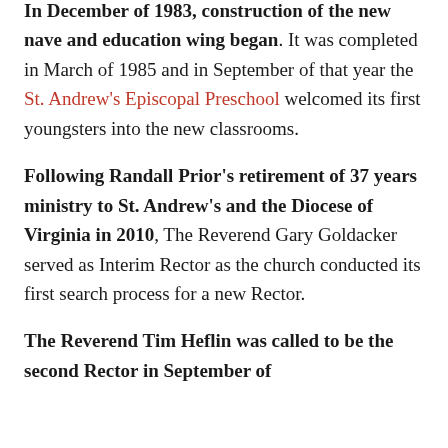In December of 1983, construction of the new nave and education wing began. It was completed in March of 1985 and in September of that year the St. Andrew's Episcopal Preschool welcomed its first youngsters into the new classrooms.
Following Randall Prior's retirement of 37 years ministry to St. Andrew's and the Diocese of Virginia in 2010, The Reverend Gary Goldacker served as Interim Rector as the church conducted its first search process for a new Rector.
The Reverend Tim Heflin was called to be the second Rector in September of